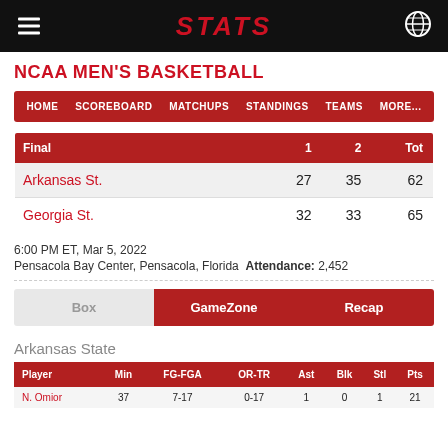STATS
NCAA MEN'S BASKETBALL
HOME  SCOREBOARD  MATCHUPS  STANDINGS  TEAMS  MORE...
| Final |  | 1 | 2 | Tot |
| --- | --- | --- | --- | --- |
| Arkansas St. |  | 27 | 35 | 62 |
| Georgia St. |  | 32 | 33 | 65 |
6:00 PM ET, Mar 5, 2022
Pensacola Bay Center, Pensacola, Florida  Attendance: 2,452
Box  GameZone  Recap
Arkansas State
| Player | Min | FG-FGA | OR-TR | Ast | Blk | Stl | Pts |
| --- | --- | --- | --- | --- | --- | --- | --- |
| N. Omior | 37 | 7-17 | 0-17 | 1 | 0 | 1 | 21 |